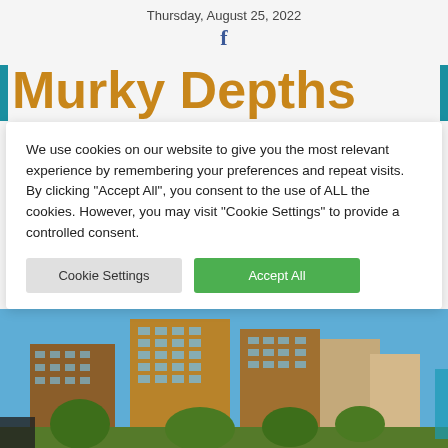Thursday, August 25, 2022
[Figure (logo): Facebook 'f' icon in blue]
Murky Depths
We use cookies on our website to give you the most relevant experience by remembering your preferences and repeat visits. By clicking “Accept All”, you consent to the use of ALL the cookies. However, you may visit “Cookie Settings” to provide a controlled consent.
[Figure (photo): Tall modern residential apartment buildings with balconies, brick and glass facades, against a blue sky with trees in the foreground]